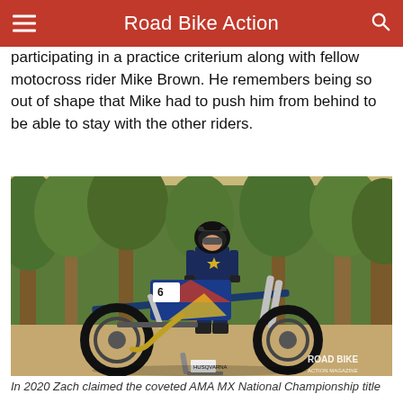Road Bike Action
participating in a practice criterium along with fellow motocross rider Mike Brown. He remembers being so out of shape that Mike had to push him from behind to be able to stay with the other riders.
[Figure (photo): A motocross rider in Rockstar Energy Husqvarna gear standing behind a Husqvarna motocross bike on a dirt area with trees in the background. Road Bike Action Magazine watermark in bottom right.]
In 2020 Zach claimed the coveted AMA MX National Championship title